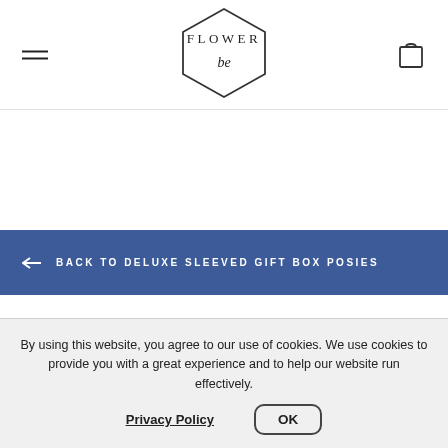[Figure (logo): Flower Be brand logo: hexagon outline with 'FLOWER' above and 'be' in italic inside the hexagon]
← BACK TO DELUXE SLEEVED GIFT BOX POSIES
By using this website, you agree to our use of cookies. We use cookies to provide you with a great experience and to help our website run effectively.
Privacy Policy
OK